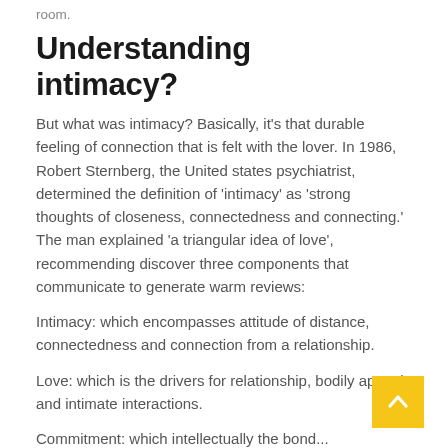room.
Understanding intimacy?
But what was intimacy? Basically, it's that durable feeling of connection that is felt with the lover. In 1986, Robert Sternberg, the United states psychiatrist, determined the definition of 'intimacy' as 'strong thoughts of closeness, connectedness and connecting.' The man explained 'a triangular idea of love', recommending discover three components that communicate to generate warm reviews:
Intimacy: which encompasses attitude of distance, connectedness and connection from a relationship.
Love: which is the drivers for relationship, bodily appeal and intimate interactions.
Commitment: which intellectually the bond...